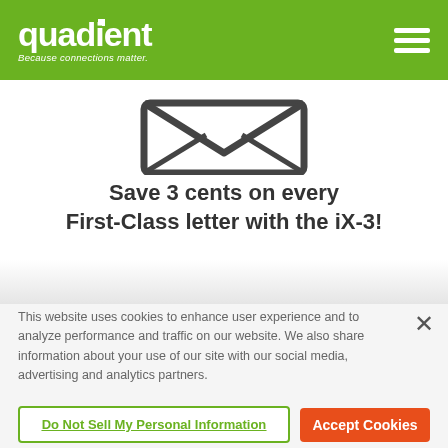quadient — Because connections matter. [navigation menu icon]
[Figure (illustration): Partial envelope/mail icon shown at top center of page, dark gray outline on white background]
Save 3 cents on every First-Class letter with the iX-3!
This website uses cookies to enhance user experience and to analyze performance and traffic on our website. We also share information about your use of our site with our social media, advertising and analytics partners.
Do Not Sell My Personal Information
Accept Cookies